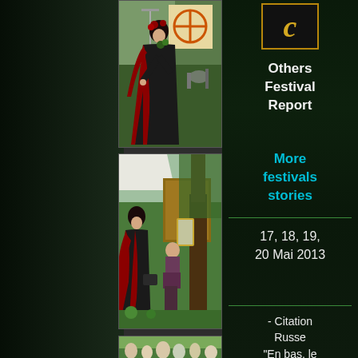[Figure (photo): Woman in gothic black and red dress performing on stage with microphone stand, orange cross symbol on banner behind her]
[Figure (photo): Person in gothic black and red dress with another figure in a outdoor festival setting near a large tree]
[Figure (photo): Crowd of people in costumes at outdoor festival, partially visible]
[Figure (logo): Gold italic letter C in a bordered box]
Others Festival Report
More festivals stories
17, 18, 19, 20 Mai 2013
- Citation Russe "En bas, le pouvoir des ténèbres.